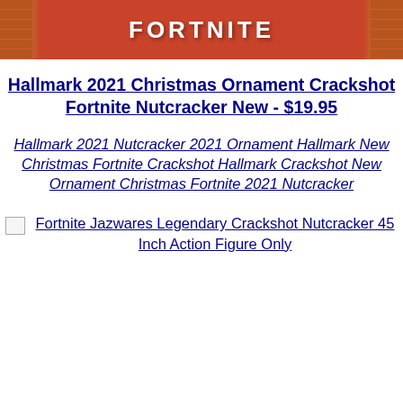[Figure (photo): Top banner image showing a red background with the Fortnite logo text in white, flanked by brick-textured brown panels on both sides]
Hallmark 2021 Christmas Ornament Crackshot Fortnite Nutcracker New - $19.95
Hallmark 2021 Nutcracker 2021 Ornament Hallmark New Christmas Fortnite Crackshot Hallmark Crackshot New Ornament Christmas Fortnite 2021 Nutcracker
Fortnite Jazwares Legendary Crackshot Nutcracker 45 Inch Action Figure Only